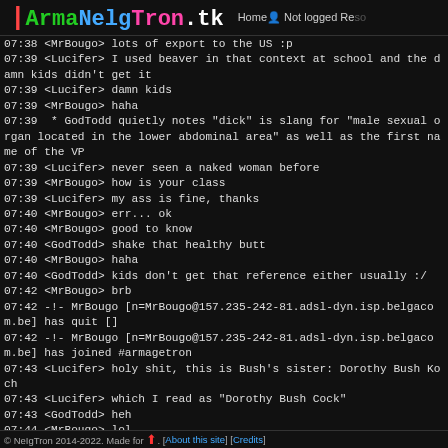ArmaNeIgTron.tk  Home  Not logged  Resources
07:38 <MrBougo> lots of export to the US :p
07:39 <Lucifer> I used beaver in that context at school and the damn kids didn't get it
07:39 <Lucifer> damn kids
07:39 <MrBougo> haha
07:39  * GodTodd quietly notes "dick" is slang for "male sexual organ located in the lower abdominal area" as well as the first name of the VP
07:39 <Lucifer> never seen a naked woman before
07:39 <MrBougo> how is your class
07:39 <Lucifer> my ass is fine, thanks
07:40 <MrBougo> err... ok
07:40 <MrBougo> good to know
07:40 <GodTodd> shake that healthy butt
07:40 <MrBougo> haha
07:40 <GodTodd> kids don't get that reference either usually :/
07:42 <MrBougo> brb
07:42 -!- MrBougo [n=MrBougo@157.235-242-81.adsl-dyn.isp.belgacom.be] has quit []
07:42 -!- MrBougo [n=MrBougo@157.235-242-81.adsl-dyn.isp.belgacom.be] has joined #armagetron
07:43 <Lucifer> holy shit, this is Bush's sister: Dorothy Bush Koch
07:43 <Lucifer> which I read as "Dorothy Bush Cock"
07:43 <GodTodd> heh
07:44 <MrBougo> lol
© NeIgTron 2014-2022. Made for Armagetron. [About this site] [Credits]